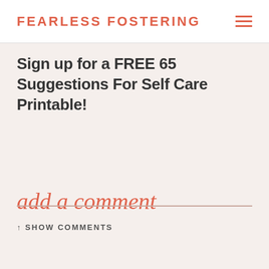FEARLESS FOSTERING
Sign up for a FREE 65 Suggestions For Self Care Printable!
add a comment
↑ SHOW COMMENTS